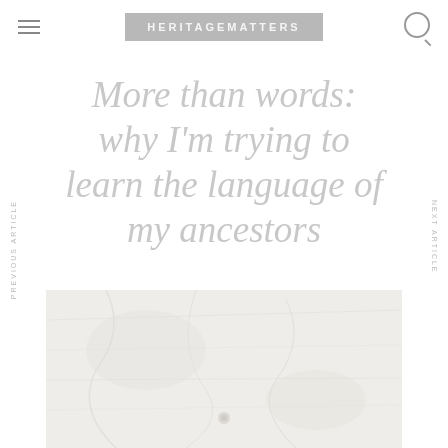HERITAGEMATTERS
More than words: why I’m trying to learn the language of my ancestors
[Figure (photo): A light, faded photograph showing what appears to be paper or fabric textures in white and grey tones.]